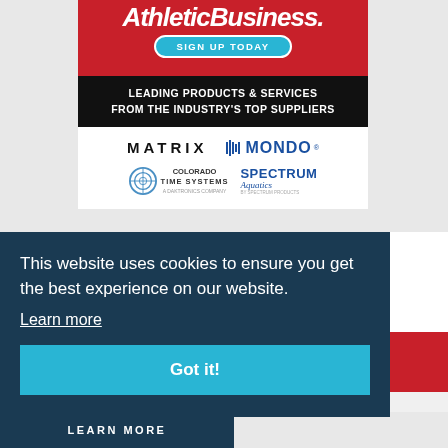[Figure (infographic): Athletic Business advertisement with red header showing 'Athletic Business' logo, 'SIGN UP TODAY' button, black section with 'LEADING PRODUCTS & SERVICES FROM THE INDUSTRY'S TOP SUPPLIERS', and white section with sponsor logos: MATRIX, MONDO, Colorado Time Systems, Spectrum Aquatics]
This website uses cookies to ensure you get the best experience on our website.
Learn more
Got it!
LEARN MORE